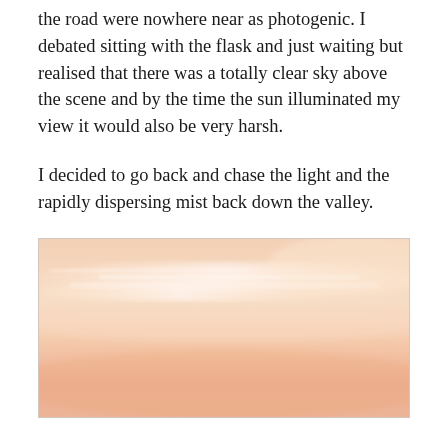the road were nowhere near as photogenic. I debated sitting with the flask and just waiting but realised that there was a totally clear sky above the scene and by the time the sun illuminated my view it would also be very harsh.
I decided to go back and chase the light and the rapidly dispersing mist back down the valley.
[Figure (photo): A soft, pastel-toned photograph of a sky at dawn or dusk, featuring warm peach, salmon, and light orange hues with subtle wispy clouds and a hazy, misty atmosphere.]